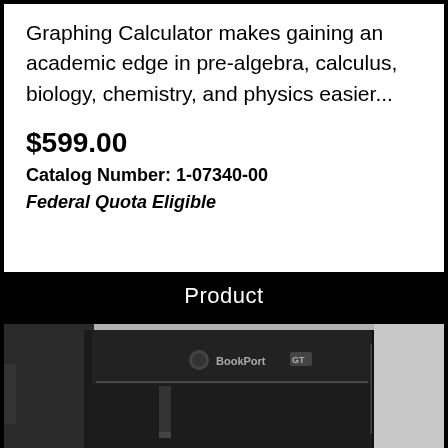Graphing Calculator makes gaining an academic edge in pre-algebra, calculus, biology, chemistry, and physics easier...
$599.00
Catalog Number: 1-07340-00
Federal Quota Eligible
Product
[Figure (photo): A black BookPort GT carrying case/bag with shoulder strap, shown from the front with the BookPort GT logo visible on the front flap.]